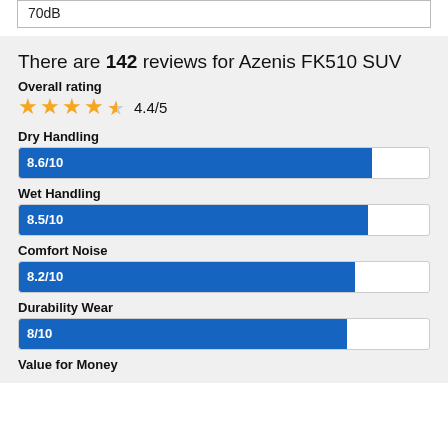70dB
There are 142 reviews for Azenis FK510 SUV
Overall rating
[Figure (other): 4.4/5 star rating with 4 orange stars and one half star]
Dry Handling
[Figure (bar-chart): Dry Handling]
Wet Handling
[Figure (bar-chart): Wet Handling]
Comfort Noise
[Figure (bar-chart): Comfort Noise]
Durability Wear
[Figure (bar-chart): Durability Wear]
Value for Money